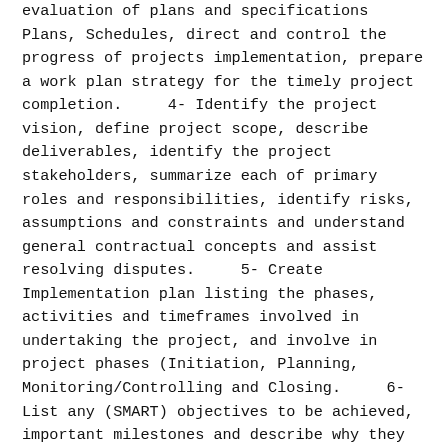evaluation of plans and specifications Plans, Schedules, direct and control the progress of projects implementation, prepare a work plan strategy for the timely project completion.     4- Identify the project vision, define project scope, describe deliverables, identify the project stakeholders, summarize each of primary roles and responsibilities, identify risks, assumptions and constraints and understand general contractual concepts and assist resolving disputes.     5- Create Implementation plan listing the phases, activities and timeframes involved in undertaking the project, and involve in project phases (Initiation, Planning, Monitoring/Controlling and Closing.     6- List any (SMART) objectives to be achieved, important milestones and describe why they are critical to the project such as the achievement of a key deliverable.     7- List any key dependencies and their criticality to the project, and its impact on the project during its life cycle.     8- Coordinates and consults with Department Heads regarding health and safety implementation of projects and